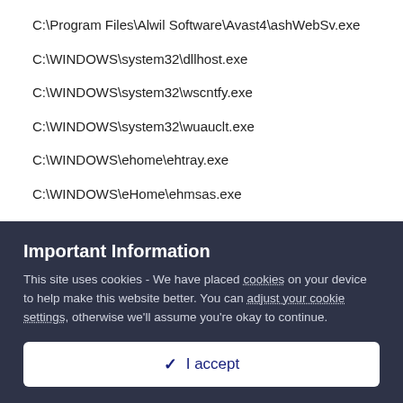C:\Program Files\Alwil Software\Avast4\ashWebSv.exe
C:\WINDOWS\system32\dllhost.exe
C:\WINDOWS\system32\wscntfy.exe
C:\WINDOWS\system32\wuauclt.exe
C:\WINDOWS\ehome\ehtray.exe
C:\WINDOWS\eHome\ehmsas.exe
C:\Program Files\HP\HP Software Update\HPwuSchd2.exe
C:\Program Files\Java\jre6\bin\jusched.exe
Important Information
This site uses cookies - We have placed cookies on your device to help make this website better. You can adjust your cookie settings, otherwise we'll assume you're okay to continue.
✓  I accept